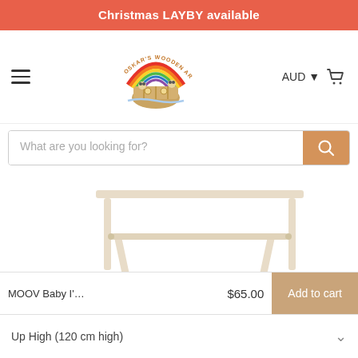Christmas LAYBY available
[Figure (logo): Oskar's Wooden Ark logo with rainbow and Noah's Ark boat illustration]
AUD ▼
What are you looking for?
Home › Climbing Triangles › MOOV Baby I'm Hooked on You (Montessori Children's Clothes Rack)
[Figure (logo): Pinterest icon]
MOOV Baby I'…   $65.00   Add to cart
[Figure (photo): Product photo of a wooden children's clothes rack/frame, natural light wood color]
Up High (120 cm high)